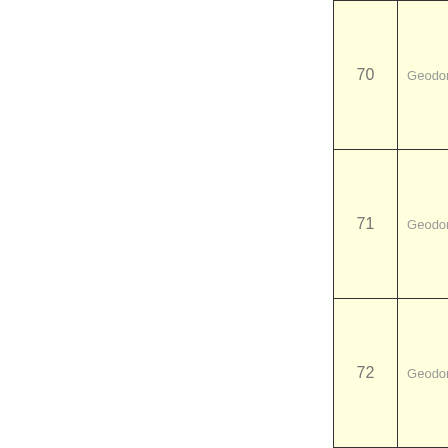| Number | Name |
| --- | --- |
| 70 | Geodom |
| 71 | Geodom |
| 72 | Geodom |